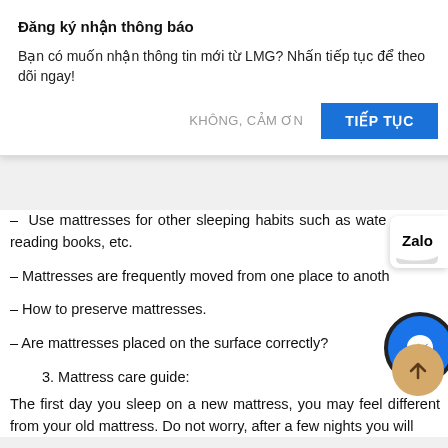Đăng ký nhận thông báo
Bạn có muốn nhận thông tin mới từ LMG? Nhấn tiếp tục để theo dõi ngay!
KHÔNG, CẢM ƠN
TIẾP TỤC
– Use mattresses for other sleeping habits such as watching TV, reading books, etc.
– Mattresses are frequently moved from one place to another.
– How to preserve mattresses.
– Are mattresses placed on the surface correctly?
3. Mattress care guide:
The first day you sleep on a new mattress, you may feel different from your old mattress. Do not worry, after a few nights you will